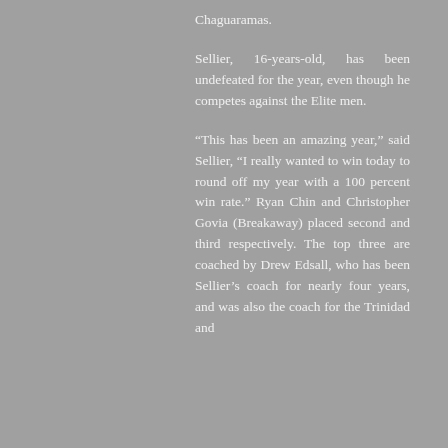Chaguaramas.
Sellier, 16-years-old, has been undefeated for the year, even though he competes against the Elite men.
“This has been an amazing year,” said Sellier, “I really wanted to win today to round off my year with a 100 percent win rate.” Ryan Chin and Christopher Govia (Breakaway) placed second and third respectively. The top three are coached by Drew Edsall, who has been Sellier’s coach for nearly four years, and was also the coach for the Trinidad and